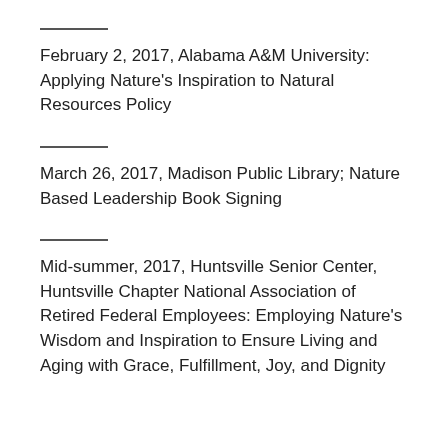February 2, 2017, Alabama A&M University: Applying Nature's Inspiration to Natural Resources Policy
March 26, 2017, Madison Public Library; Nature Based Leadership Book Signing
Mid-summer, 2017, Huntsville Senior Center, Huntsville Chapter National Association of Retired Federal Employees: Employing Nature's Wisdom and Inspiration to Ensure Living and Aging with Grace, Fulfillment, Joy, and Dignity